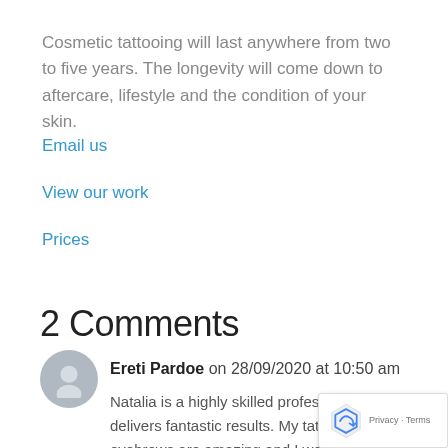Cosmetic tattooing will last anywhere from two to five years. The longevity will come down to aftercare, lifestyle and the condition of your skin.
Email us
View our work
Prices
2 Comments
Ereti Pardoe on 28/09/2020 at 10:50 am
Natalia is a highly skilled professional that delivers fantastic results. My tattooed eyebrows are amazing and I would recommend Natalia to all those who want